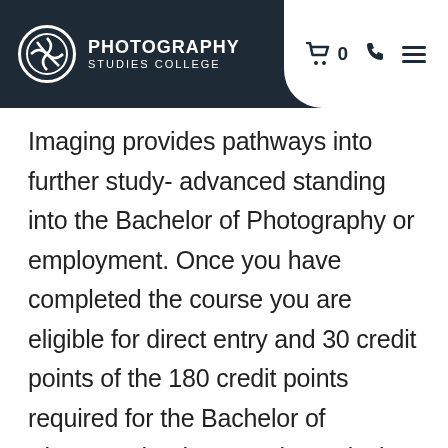Photography Studies College
Imaging provides pathways into further study- advanced standing into the Bachelor of Photography or employment. Once you have completed the course you are eligible for direct entry and 30 credit points of the 180 credit points required for the Bachelor of Photography degree. Alternatively, it will prepare you for support roles in photography and the creative industries such as digital retouching, cataloguing digital content, being a visual editing assistant or working as a photography assistant. In the course you undertake 4